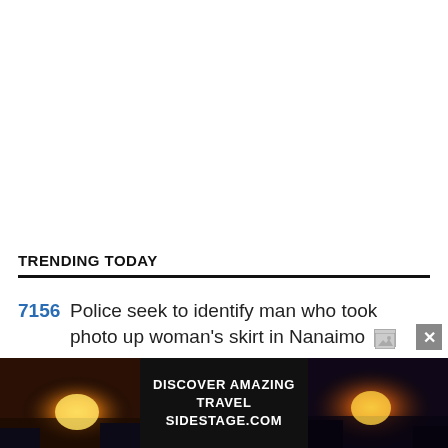TRENDING TODAY
7156  Police seek to identify man who took photo up woman's skirt in Nanaimo
[Figure (infographic): Advertisement banner: sunset/travel image on left and right, black center with text 'DISCOVER AMAZING TRAVEL SIDESTAGE.COM']